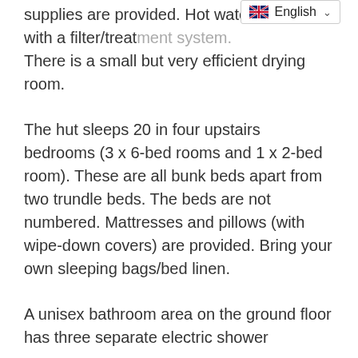supplies are provided. Hot water supply with a filter/treatment system. There is a small but very efficient drying room.
The hut sleeps 20 in four upstairs bedrooms (3 x 6-bed rooms and 1 x 2-bed room). These are all bunk beds apart from two trundle beds. The beds are not numbered. Mattresses and pillows (with wipe-down covers) are provided. Bring your own sleeping bags/bed linen.
A unisex bathroom area on the ground floor has three separate electric shower